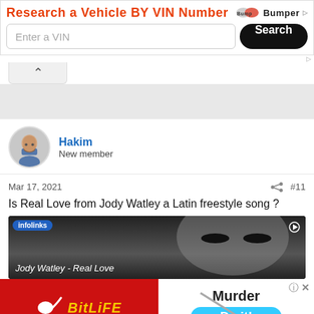[Figure (screenshot): Bumper ad banner: 'Research a Vehicle BY VIN Number' with VIN input and Search button]
Hakim
New member
Mar 17, 2021  #11
Is Real Love from Jody Watley a Latin freestyle song ?
[Figure (screenshot): Video thumbnail: Jody Watley - Real Love, with infolinks branding]
[Figure (screenshot): BitLife advertisement banner on left, Murder 'Do it!' game ad on right]